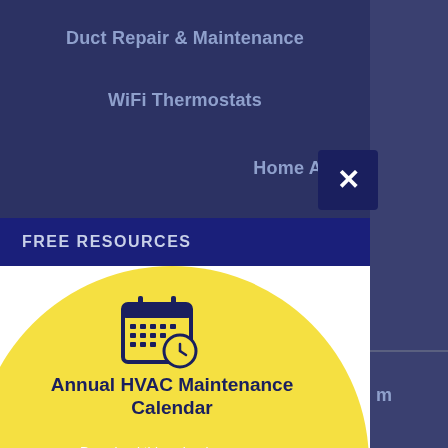Duct Repair & Maintenance
WiFi Thermostats
Home Autom…
FREE RESOURCES
[Figure (illustration): Yellow and navy blue circle with a calendar+clock icon, title 'Annual HVAC Maintenance Calendar', and descriptive text about downloading the calendar.]
Annual HVAC Maintenance Calendar
Download this calendar so you know how to keep your HVAC system running optimally year-round.